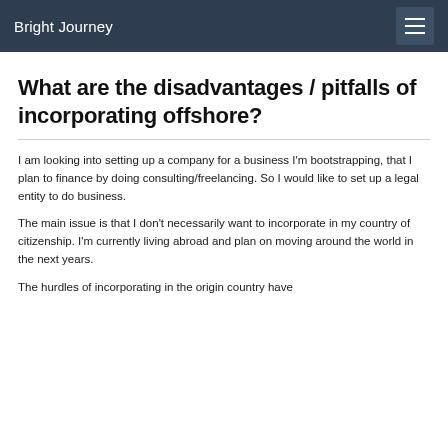Bright Journey
What are the disadvantages / pitfalls of incorporating offshore?
I am looking into setting up a company for a business I'm bootstrapping, that I plan to finance by doing consulting/freelancing. So I would like to set up a legal entity to do business.
The main issue is that I don't necessarily want to incorporate in my country of citizenship. I'm currently living abroad and plan on moving around the world in the next years.
The hurdles of incorporating in the origin country have